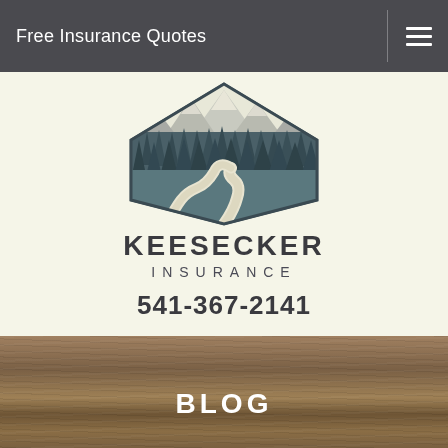Free Insurance Quotes
[Figure (logo): Keesecker Insurance logo: stylized mountain scene with snow-capped peaks, pine trees, and a winding river path, in teal, dark slate, and cream colors, in a house/diamond shape outline]
KEESECKER INSURANCE
541-367-2141
1195 Main Street
Sweet Home, OR 97386
BLOG